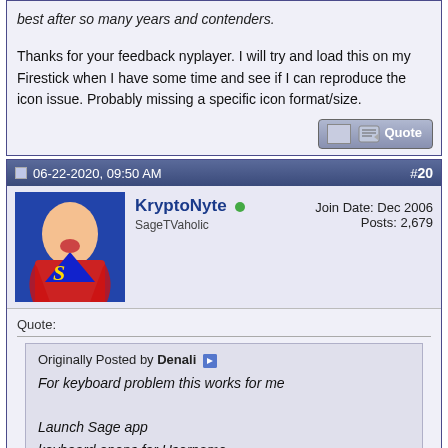best after so many years and contenders.
Thanks for your feedback nyplayer. I will try and load this on my Firestick when I have some time and see if I can reproduce the icon issue. Probably missing a specific icon format/size.
06-22-2020, 09:50 AM  #20
[Figure (photo): Avatar image of Superman cartoon character]
KryptoNyte (online)
SageTVaholic
Join Date: Dec 2006
Posts: 2,679
Quote:
Originally Posted by Denali
For keyboard problem this works for me

Launch Sage app
keyboard opens for Username
enter Username
tap Return/Back on phone
keyboard hides
tap Password field
swipe from left side
function overlay appears